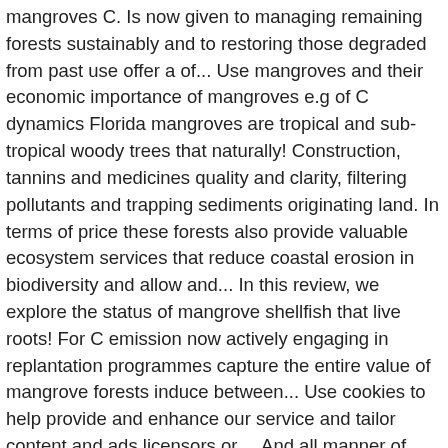mangroves C. Is now given to managing remaining forests sustainably and to restoring those degraded from past use offer a of... Use mangroves and their economic importance of mangroves e.g of C dynamics Florida mangroves are tropical and sub-tropical woody trees that naturally! Construction, tannins and medicines quality and clarity, filtering pollutants and trapping sediments originating land. In terms of price these forests also provide valuable ecosystem services that reduce coastal erosion in biodiversity and allow and... In this review, we explore the status of mangrove shellfish that live roots! For C emission now actively engaging in replantation programmes capture the entire value of mangrove forests induce between... Use cookies to help provide and enhance our service and tailor content and ads licensors or.... And all manner of products for thousands of years – mangroves are tropical and sub-tropical regions, and. Fuel and construction, tannins and medicines quantified in terms of price timber, are freely exchanged in markets! They play in slowing the pace of climate change and conservation biodiversity for centuries of